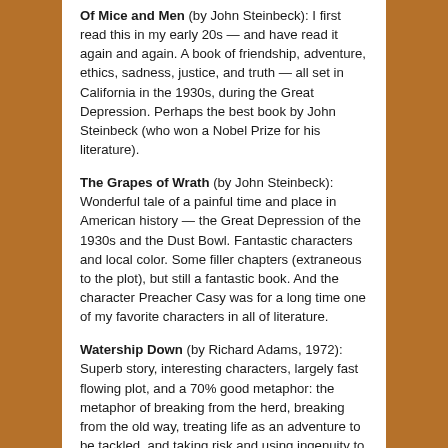Of Mice and Men (by John Steinbeck): I first read this in my early 20s — and have read it again and again. A book of friendship, adventure, ethics, sadness, justice, and truth — all set in California in the 1930s, during the Great Depression. Perhaps the best book by John Steinbeck (who won a Nobel Prize for his literature).
The Grapes of Wrath (by John Steinbeck): Wonderful tale of a painful time and place in American history — the Great Depression of the 1930s and the Dust Bowl. Fantastic characters and local color. Some filler chapters (extraneous to the plot), but still a fantastic book. And the character Preacher Casy was for a long time one of my favorite characters in all of literature.
Watership Down (by Richard Adams, 1972): Superb story, interesting characters, largely fast flowing plot, and a 70% good metaphor: the metaphor of breaking from the herd, breaking from the old way, treating life as an adventure to be tackled, and taking risk and using ingenuity to accomplish a mission.